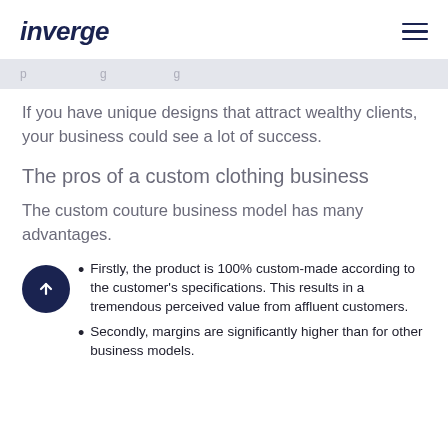inverge
If you have unique designs that attract wealthy clients, your business could see a lot of success.
The pros of a custom clothing business
The custom couture business model has many advantages.
Firstly, the product is 100% custom-made according to the customer's specifications. This results in a tremendous perceived value from affluent customers.
Secondly, margins are significantly higher than for other business models.